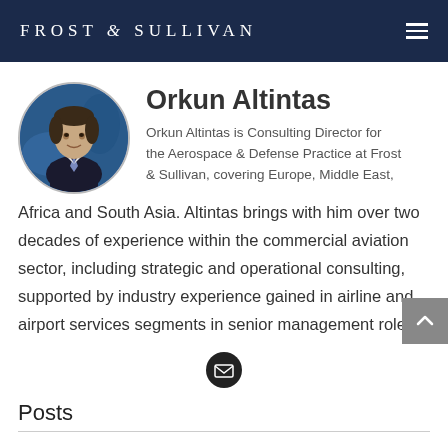FROST & SULLIVAN
[Figure (photo): Circular headshot photo of Orkun Altintas, a man in a dark suit with a light blue tie, against a blue background]
Orkun Altintas
Orkun Altintas is Consulting Director for the Aerospace & Defense Practice at Frost & Sullivan, covering Europe, Middle East, Africa and South Asia. Altintas brings with him over two decades of experience within the commercial aviation sector, including strategic and operational consulting, supported by industry experience gained in airline and airport services segments in senior management roles.
[Figure (illustration): Email envelope icon inside a black circle]
Posts